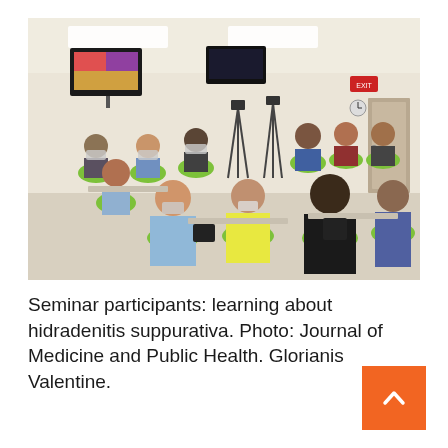[Figure (photo): A classroom seminar scene with multiple participants seated at green modern chairs around tables, wearing face masks. Two camera tripods are visible in the background. A TV monitor on the wall displays colorful content. The room has white walls, ceiling lights, and a door on the right.]
Seminar participants: learning about hidradenitis suppurativa. Photo: Journal of Medicine and Public Health. Glorianis Valentine.